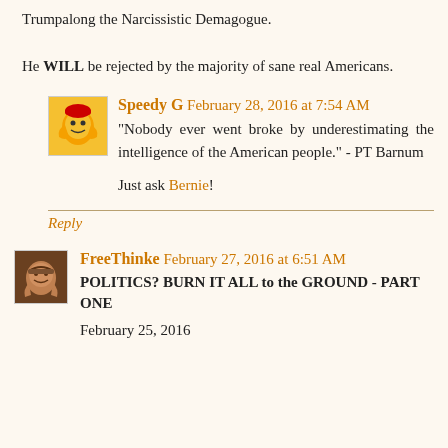Trumpalong the Narcissistic Demagogue. He WILL be rejected by the majority of sane real Americans.
Speedy G February 28, 2016 at 7:54 AM
"Nobody ever went broke by underestimating the intelligence of the American people." - PT Barnum

Just ask Bernie!
Reply
FreeThinke February 27, 2016 at 6:51 AM
POLITICS? BURN IT ALL to the GROUND - PART ONE
February 25, 2016